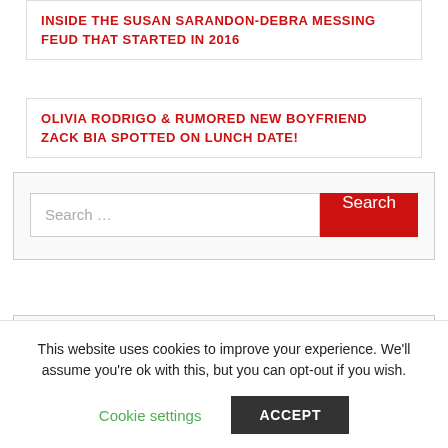INSIDE THE SUSAN SARANDON-DEBRA MESSING FEUD THAT STARTED IN 2016
OLIVIA RODRIGO & RUMORED NEW BOYFRIEND ZACK BIA SPOTTED ON LUNCH DATE!
»
[Figure (other): Search widget with text input field showing placeholder 'Search ...' and a red Search button]
[Figure (other): Partial content box at bottom of main area]
This website uses cookies to improve your experience. We'll assume you're ok with this, but you can opt-out if you wish.
Cookie settings  ACCEPT